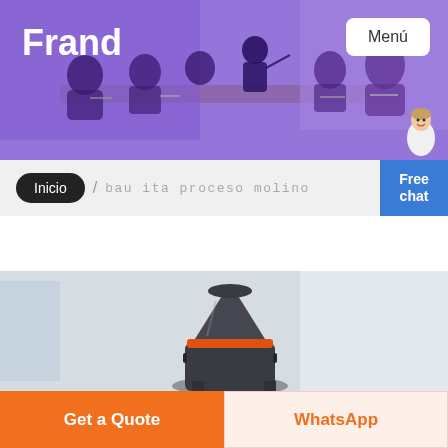[Figure (photo): Website header with purple-tinted overlay showing a business meeting room scene with people seated around a conference table. Logo 'Frand' in bold white on the left, 'Menú' button in white box on top right, and a chat avatar figure at the bottom right corner.]
Frand
Menú
Inicio / bau ita proceso molino
Free chat
[Figure (photo): Industrial grinding mill machine photographed in a facility setting, showing dark metal cone-shaped crusher with an orange band, on a grey background.]
Get a Quote
WhatsApp